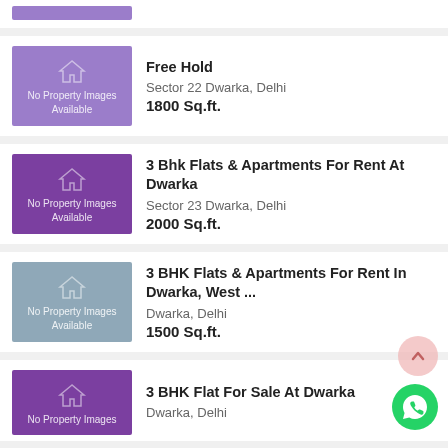Free Hold
Sector 22 Dwarka, Delhi
1800 Sq.ft.
3 Bhk Flats & Apartments For Rent At Dwarka
Sector 23 Dwarka, Delhi
2000 Sq.ft.
3 BHK Flats & Apartments For Rent In Dwarka, West ...
Dwarka, Delhi
1500 Sq.ft.
3 BHK Flat For Sale At Dwarka
Dwarka, Delhi